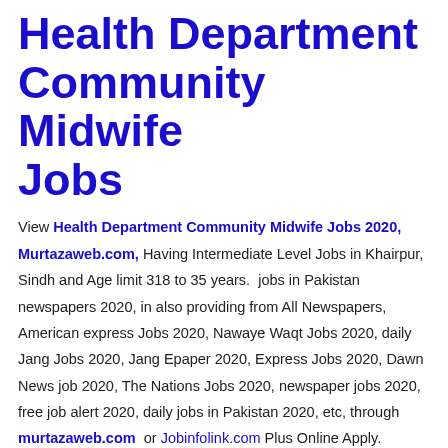Health Department Community Midwife Jobs
View Health Department Community Midwife Jobs 2020, Murtazaweb.com, Having Intermediate Level Jobs in Khairpur, Sindh and Age limit 318 to 35 years.  jobs in Pakistan newspapers 2020, in also providing from All Newspapers, American express Jobs 2020, Nawaye Waqt Jobs 2020, daily Jang Jobs 2020, Jang Epaper 2020, Express Jobs 2020, Dawn News job 2020, The Nations Jobs 2020, newspaper jobs 2020, free job alert 2020, daily jobs in Pakistan 2020, etc, through murtazaweb.com or Jobinfolink.com Plus Online Apply.
Health Department Community Midwife Jobs 2020, Murtazaweb.com October